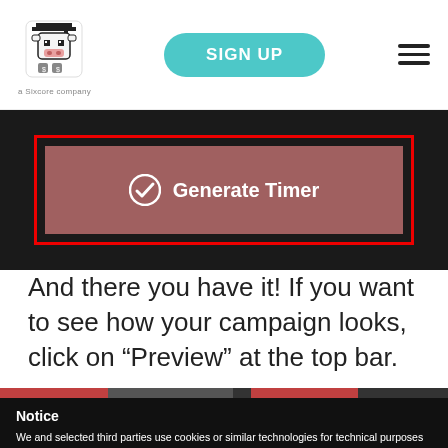[Figure (screenshot): Website navigation bar with logo (pixel art cow character with 'a Sixcore company' tagline), teal SIGN UP pill button, and hamburger menu icon]
[Figure (screenshot): Dark UI screenshot showing a 'Generate Timer' button with red border and checkmark icon on a mauve/dark rose background]
And there you have it! If you want to see how your campaign looks, click on “Preview” at the top bar.
Notice
We and selected third parties use cookies or similar technologies for technical purposes and, with your consent, for other purposes as specified in the cookie policy. Denying consent may make related features unavailable.
You can consent to the use of such technologies , by scrolling this page, by interacting with any link or button outside of this notice or by continuing to browse otherwise.